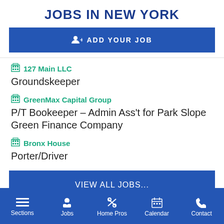JOBS IN NEW YORK
ADD YOUR JOB
127 Main LLC
Groundskeeper
GreenMax Capital Group
P/T Bookeeper – Admin Ass't for Park Slope Green Finance Company
Bronx House
Porter/Driver
VIEW ALL JOBS...
Sections | Jobs | Home Pros | Calendar | Contact